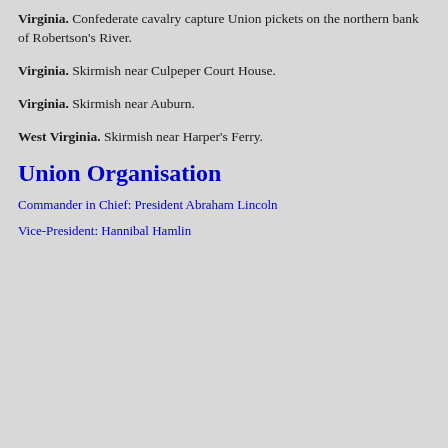Virginia. Confederate cavalry capture Union pickets on the northern bank of Robertson's River.
Virginia. Skirmish near Culpeper Court House.
Virginia. Skirmish near Auburn.
West Virginia. Skirmish near Harper's Ferry.
Union Organisation
Commander in Chief: President Abraham Lincoln
Vice-President: Hannibal Hamlin